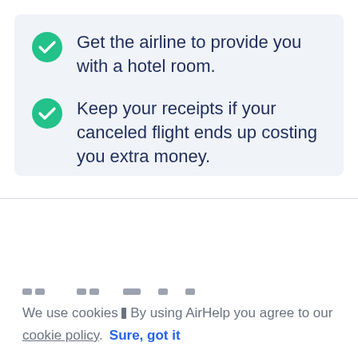Get the airline to provide you with a hotel room.
Keep your receipts if your canceled flight ends up costing you extra money.
We use cookies | By using AirHelp you agree to our cookie policy.  Sure, got it